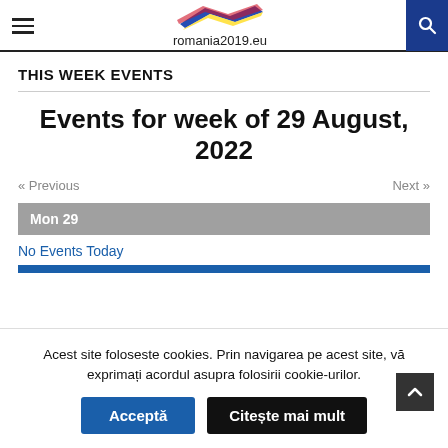romania2019.eu
THIS WEEK EVENTS
Events for week of 29 August, 2022
« Previous   Next »
Mon 29
No Events Today
Acest site foloseste cookies. Prin navigarea pe acest site, vă exprimați acordul asupra folosirii cookie-urilor.